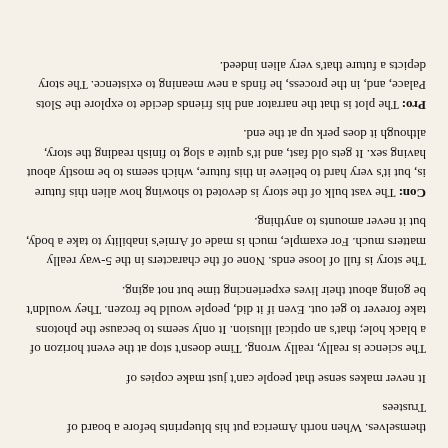themselves. When north America put his blueprints before a board of Trustees
It never makes sense that people can't just make copies of
The science is really, really wrong. Time doesn't stop at the event horizon of a black hole; that's an optical illusion. It only seems to because the photons take forever to get out. Even if it did, people would be frozen. They wouldn't be going about their lives experiencing time but not aging.
The story is full of loose ends. None of the characters in the 5-way really matters much. For example, much is made of Arnie's inability to take a body, but it never amounts to anything.
Con: The vast bulk of the story is devoted to showing how alien this future is, but it's very hard to believe in this future, which seems to be mostly about having sex. It gets old fast, and it's quite a slog to finish reading the story, although it does perk up at the end.
Pro: The plot is that the narrator and his friends decide to explore the Slots Palace, and, in the process, he finds a new meaning to existence. The story depicts a future that's very alien indeed.